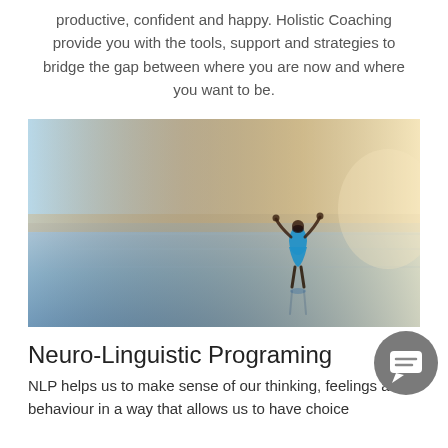productive, confident and happy. Holistic Coaching provide you with the tools, support and strategies to bridge the gap between where you are now and where you want to be.
[Figure (photo): A person in a blue dress standing on a reflective surface (possibly a beach or salt flat) with arms raised triumphantly toward a warm sunset sky.]
Neuro-Linguistic Programing
NLP helps us to make sense of our thinking, feelings and behaviour in a way that allows us to have choice